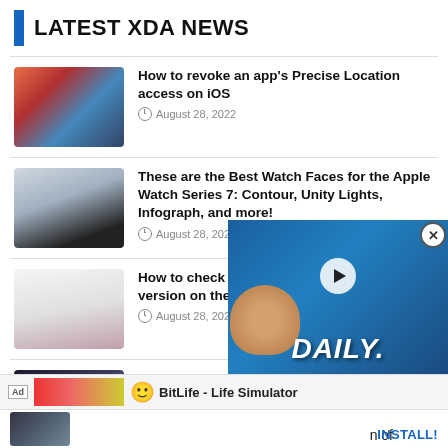LATEST XDA NEWS
How to revoke an app's Precise Location access on iOS
August 28, 2022
These are the Best Watch Faces for the Apple Watch Series 7: Contour, Unity Lights, Infograph, and more!
August 28, 2022
How to check Android 13's new bootloader version on the Google Pixel 6 series
August 28, 2022
HP Pavilion Plus review: laptop
August 28, 2022
[Figure (screenshot): Video player overlay showing a man, emoji, two Pixel phones, play button, and DAILY text on blue background]
BitLife - Life Simulator
INSTALL!
n of